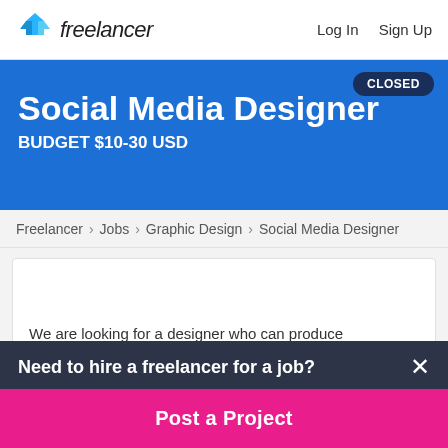freelancer  Log In  Sign Up
Social Media Designer
BUDGET $10-30 USD
CLOSED
Freelancer › Jobs › Graphic Design › Social Media Designer
We are looking for a designer who can produce
Need to hire a freelancer for a job?
Post a Project